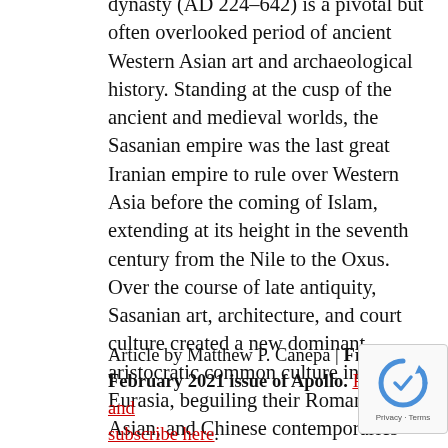dynasty (AD 224–642) is a pivotal but often overlooked period of ancient Western Asian art and archaeological history. Standing at the cusp of the ancient and medieval worlds, the Sasanian empire was the last great Iranian empire to rule over Western Asia before the coming of Islam, extending at its height in the seventh century from the Nile to the Oxus. Over the course of late antiquity, Sasanian art, architecture, and court culture created a new dominant aristocratic common culture in western Eurasia, beguiling their Roman, South Asian, and Chinese contemporaries and deeply imprinting the later Islamic world.
Article by Matthew P. Canepa | From the February 2021 issue of Apollo. Preview and subscribe here.